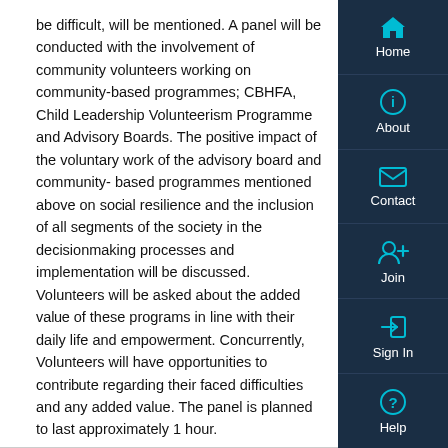be difficult, will be mentioned. A panel will be conducted with the involvement of community volunteers working on community-based programmes; CBHFA, Child Leadership Volunteerism Programme and Advisory Boards. The positive impact of the voluntary work of the advisory board and community- based programmes mentioned above on social resilience and the inclusion of all segments of the society in the decisionmaking processes and implementation will be discussed. Volunteers will be asked about the added value of these programs in line with their daily life and empowerment. Concurrently, Volunteers will have opportunities to contribute regarding their faced difficulties and any added value. The panel is planned to last approximately 1 hour.
Register here
Files
View Document (275.04 KB)
[Figure (screenshot): Right-side navigation sidebar with icons and labels: Home, About, Contact, Join, Sign In, Help — dark navy blue background with cyan icons]